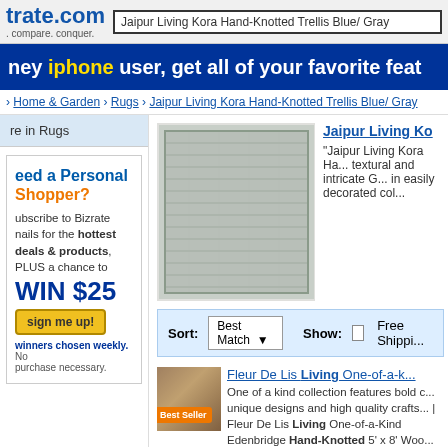trate.com search: Jaipur Living Kora Hand-Knotted Trellis Blue/ Gray
hey iphone user, get all of your favorite feat
> Home & Garden > Rugs > Jaipur Living Kora Hand-Knotted Trellis Blue/ Gray
re in Rugs
[Figure (photo): Photo of a blue/gray trellis patterned hand-knotted rug by Jaipur Living]
Jaipur Living Ko...
"Jaipur Living Kora Ha... textural and intricate G... in easily decorated col...
Need a Personal Shopper? Subscribe to Bizrate emails for the hottest deals & products, PLUS a chance to WIN $25 sign me up! winners chosen weekly. No purchase necessary.
Sort: Best Match  Show: [ ] Free Shippi...
Fleur De Lis Living One-of-a-k...
[Figure (photo): Thumbnail of Fleur De Lis Living One-of-a-Kind Edenbridge rug with Best Seller badge]
One of a kind collection features bold c... unique designs and high quality crafts... | Fleur De Lis Living One-of-a-Kind Edenbridge Hand-Knotted 5' x 8' Woo...